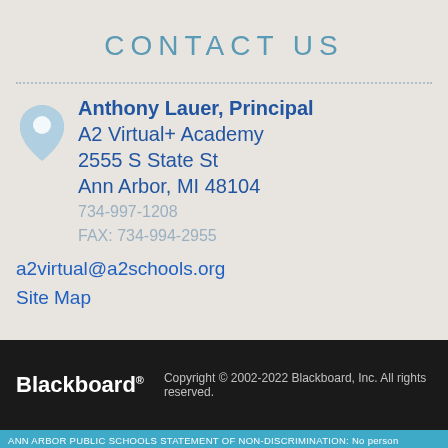CONTACT US
Anthony Lauer, Principal
A2 Virtual+ Academy
2555 S State St
Ann Arbor, MI 48104
734-997-1208
FAX: 734-994-2955
a2virtual@a2schools.org
Site Map
Blackboard® Copyright © 2002-2022 Blackboard, Inc. All rights reserved.
ANN ARBOR PUBLIC SCHOOLS STATEMENT OF NON-DISCRIMINATION: No person